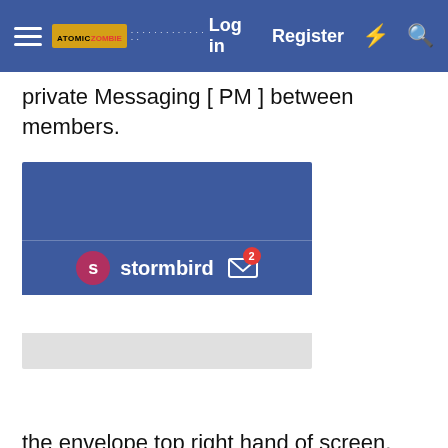Log in  Register
private Messaging [ PM ] between members.
[Figure (screenshot): Screenshot of a forum navigation bar showing a logged-in user 'stormbird' with an envelope icon showing a badge count of 2 unread messages.]
the envelope top right hand of screen.
However you have your security settings for your Username/Account set to not allow me to contact you using this method.
I want to send you my email address this way so it is not